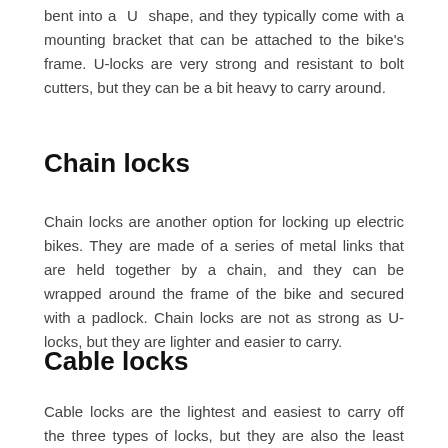bent into a 'U' shape, and they typically come with a mounting bracket that can be attached to the bike's frame. U-locks are very strong and resistant to bolt cutters, but they can be a bit heavy to carry around.
Chain locks
Chain locks are another option for locking up electric bikes. They are made of a series of metal links that are held together by a chain, and they can be wrapped around the frame of the bike and secured with a padlock. Chain locks are not as strong as U-locks, but they are lighter and easier to carry.
Cable locks
Cable locks are the lightest and easiest to carry off the three types of locks, but they are also the least secure. Cable locks